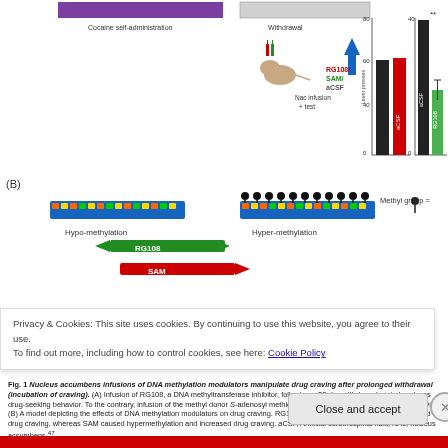[Figure (schematic): Figure panel A: experimental timeline showing cocaine self-administration, withdrawal period, and NAc infusion with RG108/SAM/aCSF, plus two bar charts showing lever presses for aCSF vs SAM (left) and aCSF vs RG108 (right)]
[Figure (infographic): Figure panel B: schematic showing hypo-methylation DNA strand (left) and hyper-methylation DNA strand (right) with methyl groups, RG108 green arrow pointing left, SAM red arrow pointing right, and blue triangle representing drug craving gradient]
Fig. 1 Nucleus accumbens infusions of DNA methylation modulators manipulate drug craving after prolonged withdrawal (incubation of craving). (A) Infusion of RG108, a DNA methyltransferase inhibitor, following a 30-day withdrawal period, reduces drug-seeking behavior. To the contrary, infusion of the methyl donor S-adenosyl methionine (SAM) increased drug-seeking behavior. (B) A model depicting the effects of DNA methylation modulators on drug craving. RG108 promoted hypomethylation and reduced drug craving, whereas SAM caused hypermethylation and increased drug craving. aCSF, Artificial cerebrospinal fluid; NAc, nucleus accumbens.47
Privacy & Cookies: This site uses cookies. By continuing to use this website, you agree to their use. To find out more, including how to control cookies, see here: Cookie Policy